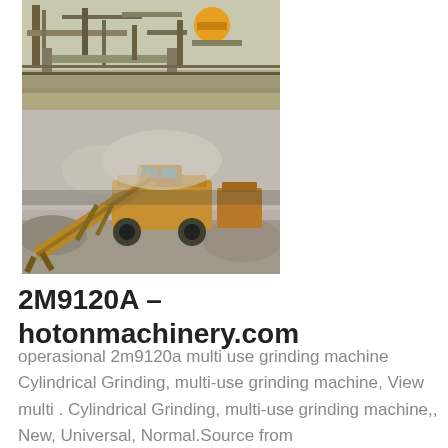[Figure (photo): Two stacked photos of industrial mining/crushing machinery. Top photo shows overhead view of heavy industrial equipment, conveyors and machinery at a quarry or mining site with yellow machinery visible. Bottom photo shows a large yellow mobile crusher/conveyor machine operating in a dusty quarry environment.]
2M9120A – hotonmachinery.com
operasional 2m9120a multi use grinding machine Cylindrical Grinding, multi-use grinding machine, View multi . Cylindrical Grinding, multi-use grinding machine,, New, Universal, Normal.Source from